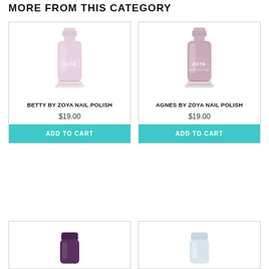MORE FROM THIS CATEGORY
[Figure (photo): Zoya nail polish bottle in light pink color with 'ZOYA' label, product: Betty by Zoya Nail Polish]
BETTY BY ZOYA NAIL POLISH
$19.00
ADD TO CART
[Figure (photo): Zoya nail polish bottle in mauve/dusty pink color with 'ZOYA' label, product: Agnes by Zoya Nail Polish]
AGNES BY ZOYA NAIL POLISH
$19.00
ADD TO CART
[Figure (photo): Partial view of a dark purple Zoya nail polish bottle cap]
[Figure (photo): Partial view of a light/clear Zoya nail polish bottle cap]